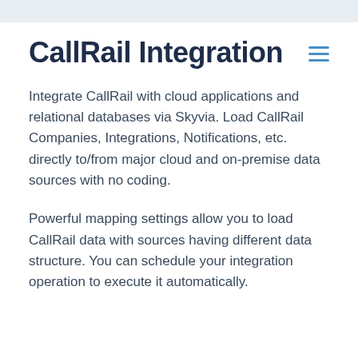CallRail Integration
Integrate CallRail with cloud applications and relational databases via Skyvia. Load CallRail Companies, Integrations, Notifications, etc. directly to/from major cloud and on-premise data sources with no coding.
Powerful mapping settings allow you to load CallRail data with sources having different data structure. You can schedule your integration operation to execute it automatically.